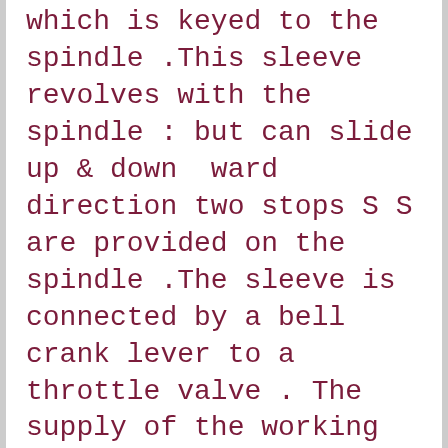which is keyed to the spindle .This sleeve revolves with the spindle : but can slide up & down  ward direction two stops S S are provided on the spindle .The sleeve is connected by a bell crank lever to a throttle valve . The supply of the working fluid decreases when the sleeve rises and increases when it falls . When the load on the engine increases the engine & the governor speed decreases .This results in the decrease of Centrifugal forces on the balls. Hence the balls move inwards and the sleeve move downward .The downward movement of the sleeve